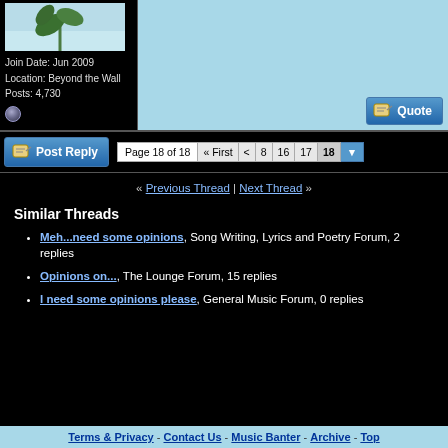[Figure (photo): Profile avatar showing plant leaves against a light blue sky background]
Join Date: Jun 2009
Location: Beyond the Wall
Posts: 4,730
[Figure (other): Offline status icon (small blue circle)]
[Figure (other): Quote button]
[Figure (other): Post Reply button]
Page 18 of 18  « First  <  8  16  17  18  ▼
« Previous Thread | Next Thread »
Similar Threads
Meh...need some opinions, Song Writing, Lyrics and Poetry Forum, 2 replies
Opinions on..., The Lounge Forum, 15 replies
I need some opinions please, General Music Forum, 0 replies
Terms & Privacy - Contact Us - Music Banter - Archive - Top